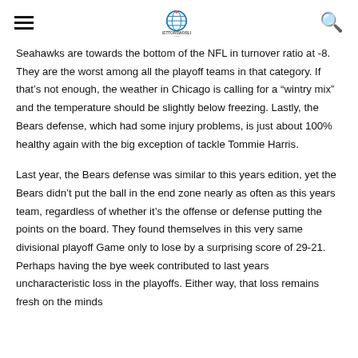BettorsWorld
Seahawks are towards the bottom of the NFL in turnover ratio at -8. They are the worst among all the playoff teams in that category. If that's not enough, the weather in Chicago is calling for a “wintry mix” and the temperature should be slightly below freezing. Lastly, the Bears defense, which had some injury problems, is just about 100% healthy again with the big exception of tackle Tommie Harris.
Last year, the Bears defense was similar to this years edition, yet the Bears didn’t put the ball in the end zone nearly as often as this years team, regardless of whether it’s the offense or defense putting the points on the board. They found themselves in this very same divisional playoff Game only to lose by a surprising score of 29-21. Perhaps having the bye week contributed to last years uncharacteristic loss in the playoffs. Either way, that loss remains fresh on the minds